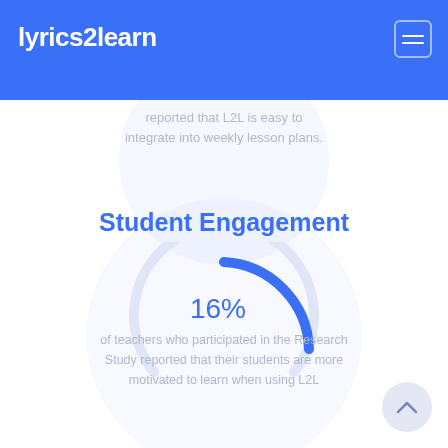lyrics2learn
reported that L2L is easy to integrate into weekly lesson plans.
Student Engagement
[Figure (donut-chart): Student Engagement]
16%
of teachers who participated in the Research Study reported that their students are more motivated to learn when using L2L